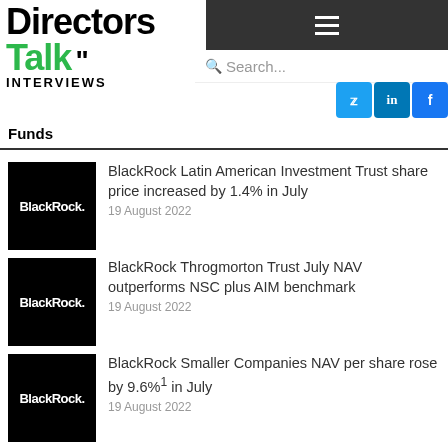Directors Talk INTERVIEWS — Funds
BlackRock Latin American Investment Trust share price increased by 1.4% in July — 19 August 2022
BlackRock Throgmorton Trust July NAV outperforms NSC plus AIM benchmark — 19 August 2022
BlackRock Smaller Companies NAV per share rose by 9.6%1 in July — 19 August 2022
The small cap advantage — 18 August 2022